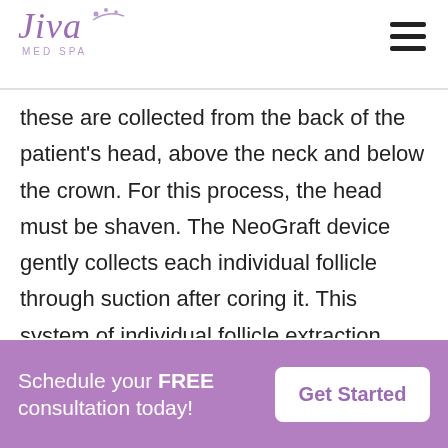Jiva Med Spa
these are collected from the back of the patient's head, above the neck and below the crown. For this process, the head must be shaven. The NeoGraft device gently collects each individual follicle through suction after coring it. This system of individual follicle extraction lands NeoGraft in the category of Follicular Unit Extraction Hair Transplant (FUE), which is the most popular type of hair transplant today. Next, the NeoGraft doctor goes about counting, separating, and sorting
Schedule your FREE consultation today! Get Started